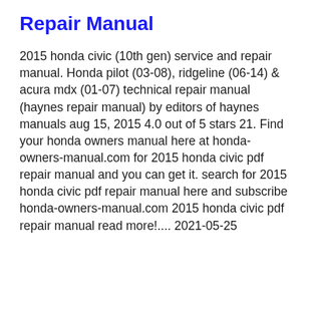Repair Manual
2015 honda civic (10th gen) service and repair manual. Honda pilot (03-08), ridgeline (06-14) & acura mdx (01-07) technical repair manual (haynes repair manual) by editors of haynes manuals aug 15, 2015 4.0 out of 5 stars 21. Find your honda owners manual here at honda-owners-manual.com for 2015 honda civic pdf repair manual and you can get it. search for 2015 honda civic pdf repair manual here and subscribe honda-owners-manual.com 2015 honda civic pdf repair manual read more!.... 2021-05-25